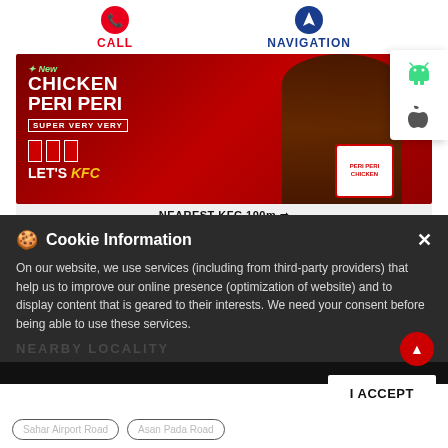[Figure (screenshot): KFC website screenshot showing CALL and NAVIGATION buttons at top, a KFC Chicken Peri Peri advertisement banner, NEAREST KFC 100m arrow indicator, red navigation dot buttons, Android and Apple app download icons, and a Cookie Information overlay dialog with I ACCEPT button and nearby locality pills.]
CALL
NAVIGATION
[Figure (photo): KFC advertisement banner: man eating KFC Chicken Peri Peri. Text reads: New CHICKEN PERI PERI SUPER VERY VERY. LET'S KFC. Bucket labeled PERI PERI CHICKEN.]
NEAREST KFC 100m →
Cookie Information
On our website, we use services (including from third-party providers) that help us to improve our online presence (optimization of website) and to display content that is geared to their interests. We need your consent before being able to use these services.
NEARBY LOCALITY
I ACCEPT
Sahar Airport Road
Asan Pada Road